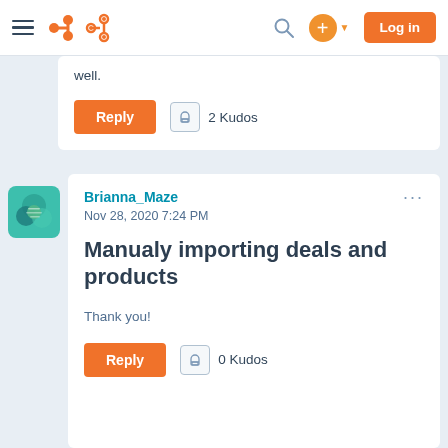HubSpot Community - Navigation bar with hamburger menu, HubSpot logo, search, plus button, and Log in button
well.
Reply  2 Kudos
[Figure (illustration): User avatar for Brianna_Maze - teal/green illustrated icon]
Brianna_Maze
Nov 28, 2020 7:24 PM
Manualy importing deals and products
Thank you!
Reply  0 Kudos